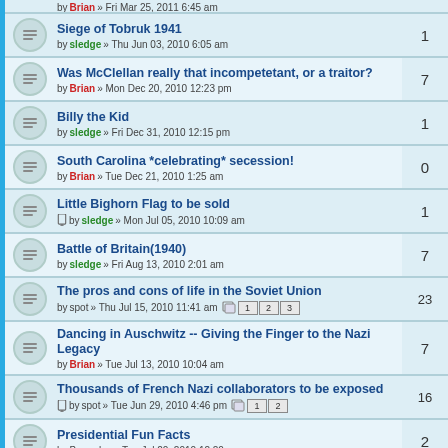Siege of Tobruk 1941 — by sledge » Thu Jun 03, 2010 6:05 am — replies: 1
Was McClellan really that incompetetant, or a traitor? — by Brian » Mon Dec 20, 2010 12:23 pm — replies: 7
Billy the Kid — by sledge » Fri Dec 31, 2010 12:15 pm — replies: 1
South Carolina *celebrating* secession! — by Brian » Tue Dec 21, 2010 1:25 am — replies: 0
Little Bighorn Flag to be sold — by sledge » Mon Jul 05, 2010 10:09 am — replies: 1
Battle of Britain(1940) — by sledge » Fri Aug 13, 2010 2:01 am — replies: 7
The pros and cons of life in the Soviet Union — by spot » Thu Jul 15, 2010 11:41 am — pages: 1,2,3 — replies: 23
Dancing in Auschwitz -- Giving the Finger to the Nazi Legacy — by Brian » Tue Jul 13, 2010 10:04 am — replies: 7
Thousands of French Nazi collaborators to be exposed — by spot » Tue Jun 29, 2010 4:46 pm — pages: 1,2 — replies: 16
Presidential Fun Facts — by Barmaley » Tue Jul 20, 2010 12:20 am — replies: 2